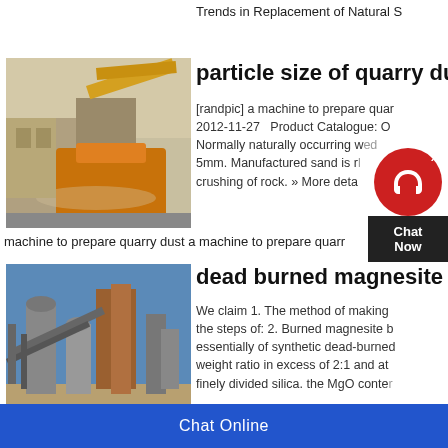Trends in Replacement of Natural S
particle size of quarry du
[Figure (photo): Industrial quarry crushing machine with yellow equipment and dust in background]
[randpic] a machine to prepare quarr 2012-11-27  Product Catalogue: O Normally naturally occurring w ed 5mm. Manufactured sand is r l crushing of rock. » More deta
[Figure (other): Chat Now widget with red circle icon and dark background button]
machine to prepare quarry dust a machine to prepare quarr
dead burned magnesite
[Figure (photo): Industrial facility with conveyor belts, silos and infrastructure against blue sky]
We claim 1. The method of making the steps of: 2. Burned magnesite b essentially of synthetic dead-burned weight ratio in excess of 2:1 and at finely divided silica. the MgO conter
Chat Online